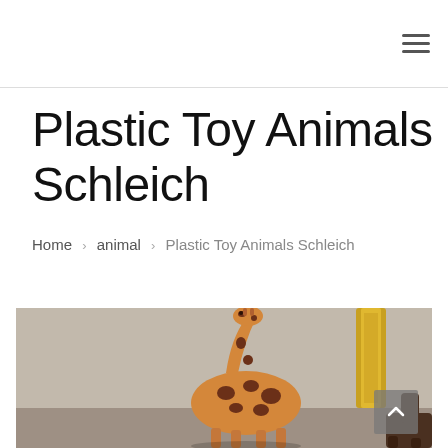Plastic Toy Animals Schleich
Home › animal › Plastic Toy Animals Schleich
[Figure (photo): Photo of Schleich plastic toy giraffe figurines on a surface, with a gold object visible in the background. The giraffe is tan/orange with brown spots.]